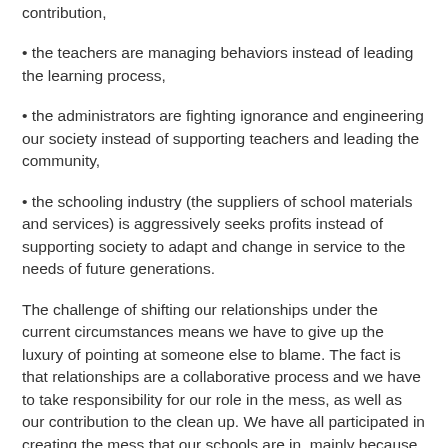contribution,
• the teachers are managing behaviors instead of leading the learning process,
• the administrators are fighting ignorance and engineering our society instead of supporting teachers and leading the community,
• the schooling industry (the suppliers of school materials and services) is aggressively seeks profits instead of supporting society to adapt and change in service to the needs of future generations.
The challenge of shifting our relationships under the current circumstances means we have to give up the luxury of pointing at someone else to blame. The fact is that relationships are a collaborative process and we have to take responsibility for our role in the mess, as well as our contribution to the clean up. We have all participated in creating the mess that our schools are in, mainly because some of the key aspects of our long and venerable